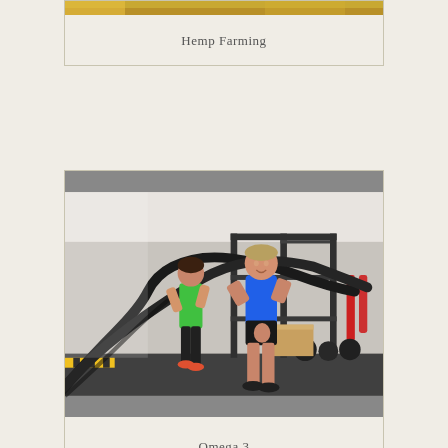[Figure (photo): Top portion of a hemp farming image, cropped at the top of the page]
Hemp Farming
[Figure (photo): Two people in a gym doing battle rope exercises. A woman in green athletic wear and a man in a blue shirt are working out with large black ropes in an indoor gym facility with weights and equipment in the background.]
Omega 3